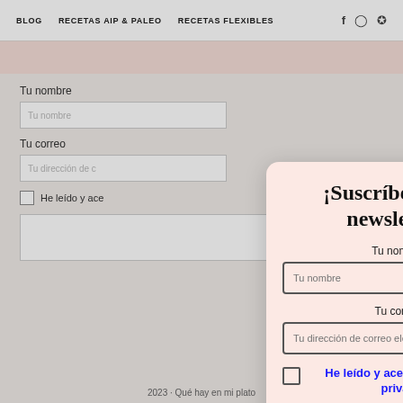BLOG   RECETAS AIP & PALEO   RECETAS FLEXIBLES
Tu nombre
Tu nombre (input placeholder)
Tu correo
Tu dirección de correo electrónico (input placeholder)
He leído y acepto la política de privacidad (checkbox)
[Figure (screenshot): Newsletter subscription modal popup with title '¡Suscríbete a mi newsletter!', name field, email field, privacy policy checkbox, and subscribe button on a pink background]
¡Suscríbete a mi newsletter!
Tu nombre
Tu correo
He leído y acepto la política de privacidad
Suscribir a la newsletter
2023 · Qué hay en mi plato